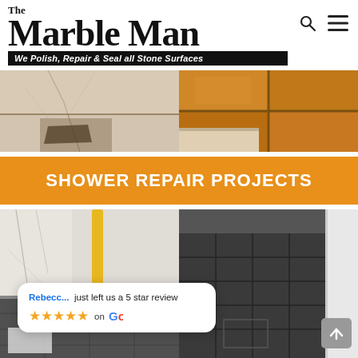The Marble Man
We Polish, Repair & Seal all Stone Surfaces
[Figure (photo): Before photo showing cracked marble edge and damaged stone surface]
[Figure (photo): Orange-brown tiles viewed from above]
SHOWER REPAIR PROJECTS
[Figure (photo): Shower with white marble walls and dark slate floor during repair, yellow tool visible]
[Figure (photo): Completed shower with dark slate tile floor and white walls]
Rebecc... just left us a 5 star review ★★★★★ on Google